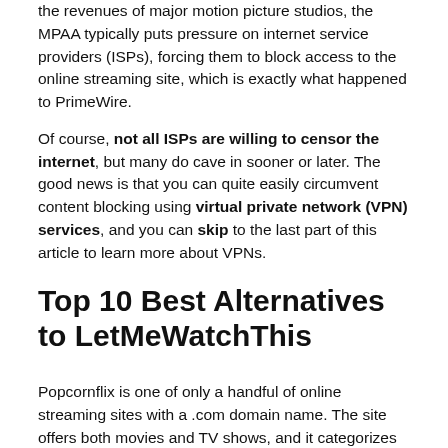the revenues of major motion picture studios, the MPAA typically puts pressure on internet service providers (ISPs), forcing them to block access to the online streaming site, which is exactly what happened to PrimeWire.
Of course, not all ISPs are willing to censor the internet, but many do cave in sooner or later. The good news is that you can quite easily circumvent content blocking using virtual private network (VPN) services, and you can skip to the last part of this article to learn more about VPNs.
Top 10 Best Alternatives to LetMeWatchThis
Popcornflix is one of only a handful of online streaming sites with a .com domain name. The site offers both movies and TV shows, and it categorizes them by genre to make it easier for users to find something interesting to watch.